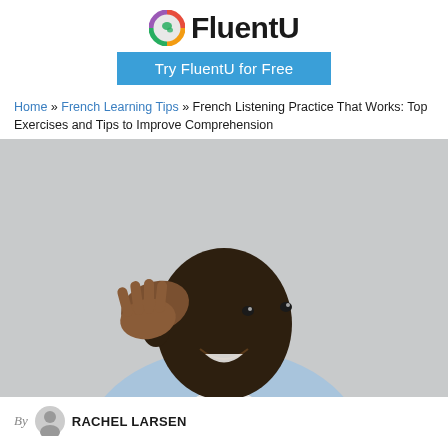[Figure (logo): FluentU logo with colorful globe icon and bold text 'FluentU']
[Figure (other): Blue 'Try FluentU for Free' call-to-action button]
Home » French Learning Tips » French Listening Practice That Works: Top Exercises and Tips to Improve Comprehension
[Figure (photo): A smiling Black man in a light blue shirt holding his hand up to his ear in a listening pose, against a grey background]
By RACHEL LARSEN